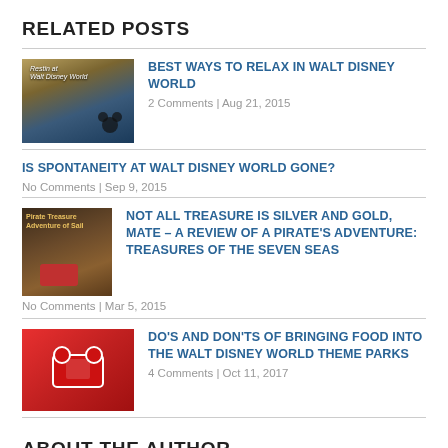RELATED POSTS
BEST WAYS TO RELAX IN WALT DISNEY WORLD
2 Comments | Aug 21, 2015
IS SPONTANEITY AT WALT DISNEY WORLD GONE?
No Comments | Sep 9, 2015
NOT ALL TREASURE IS SILVER AND GOLD, MATE – A REVIEW OF A PIRATE'S ADVENTURE: TREASURES OF THE SEVEN SEAS
No Comments | Mar 5, 2015
DO'S AND DON'TS OF BRINGING FOOD INTO THE WALT DISNEY WORLD THEME PARKS
4 Comments | Oct 11, 2017
ABOUT THE AUTHOR